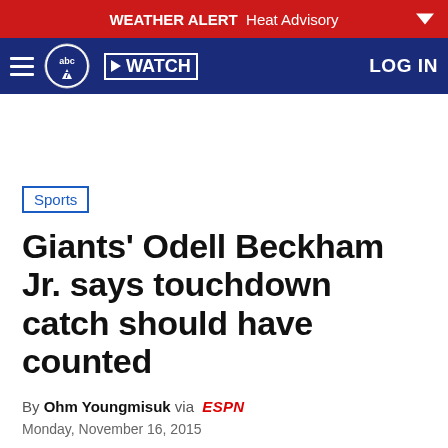WEATHER ALERT  Heat Advisory
abc7  WATCH  LOG IN
Sports
Giants' Odell Beckham Jr. says touchdown catch should have counted
By Ohm Youngmisuk via ESPN
Monday, November 16, 2015